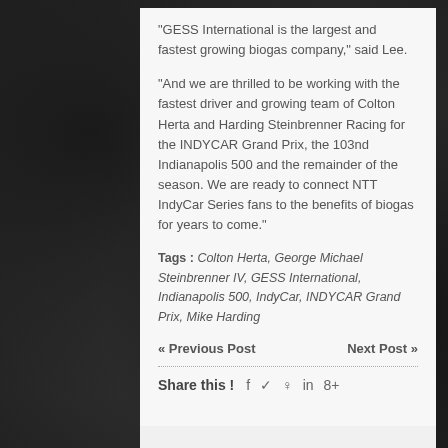“GESS International is the largest and fastest growing biogas company,” said Lee.
“And we are thrilled to be working with the fastest driver and growing team of Colton Herta and Harding Steinbrenner Racing for the INDYCAR Grand Prix, the 103nd Indianapolis 500 and the remainder of the season. We are ready to connect NTT IndyCar Series fans to the benefits of biogas for years to come.”
Tags : Colton Herta, George Michael Steinbrenner IV, GESS International, Indianapolis 500, IndyCar, INDYCAR Grand Prix, Mike Harding
« Previous Post    Next Post »
Share this ! f ✓ p in 8+